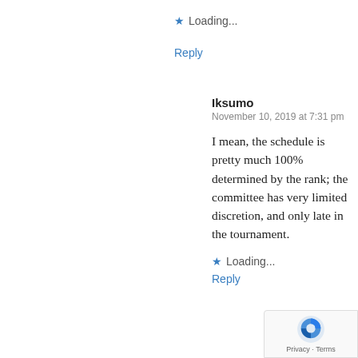Loading...
Reply
Iksumo
November 10, 2019 at 7:31 pm
I mean, the schedule is pretty much 100% determined by the rank; the committee has very limited discretion, and only late in the tournament.
Loading...
Reply